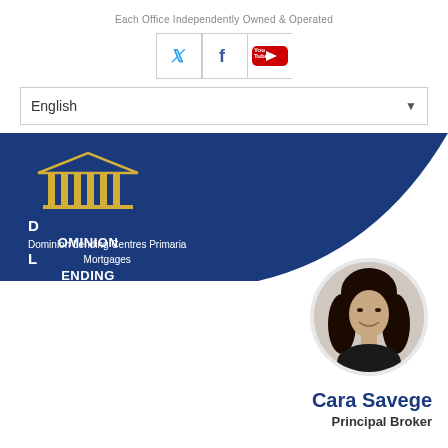Each Office Independently Owned & Operated
[Figure (infographic): Social media icons: Twitter, Facebook, YouTube in bordered boxes]
[Figure (infographic): Language selector dropdown showing 'English' with a down arrow]
[Figure (logo): Dominion Lending Centres logo on dark blue banner background with white curved element; subtitle: Dominion Lending Centres Primaria Mortgages]
[Figure (photo): Circular headshot photo of a woman with dark hair and a smile, wearing a dark jacket]
Cara Savege
Principal Broker